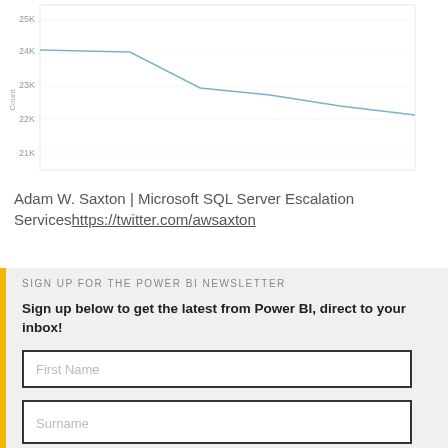[Figure (continuous-plot): A line chart showing a declining trend. Y-axis labels: 25K, 24K, 23K, 22K, 21K. The line starts high around 24K on the left and decreases to around 22K on the right.]
Adam W. Saxton | Microsoft SQL Server Escalation Serviceshttps://twitter.com/awsaxton
SIGN UP FOR THE POWER BI NEWSLETTER
Sign up below to get the latest from Power BI, direct to your inbox!
First Name
Surname